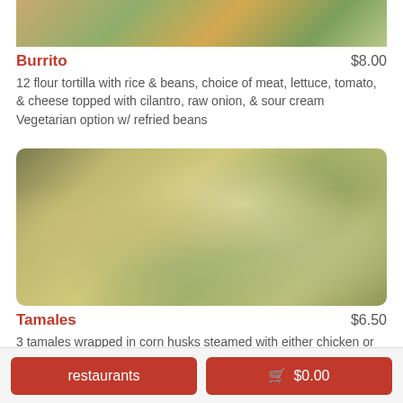[Figure (photo): Photo of a burrito dish, partially cropped at top]
Burrito   $8.00
12 flour tortilla with rice & beans, choice of meat, lettuce, tomato, & cheese topped with cilantro, raw onion, & sour cream Vegetarian option w/ refried beans
[Figure (photo): Photo of tamales dish topped with melted cheese, lettuce, and herbs]
Tamales   $6.50
3 tamales wrapped in corn husks steamed with either chicken or pork topped w/ lettuce, tomatoes, sour cream, and cheese
restaurants   🛒 $0.00